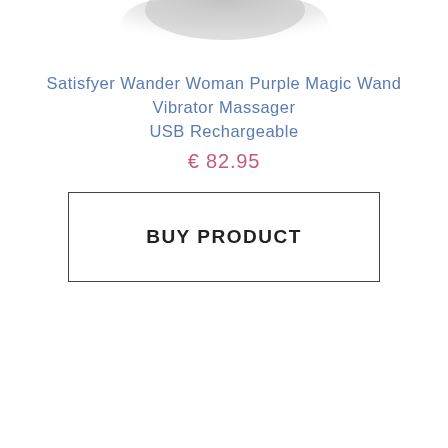[Figure (photo): Partial product image visible at the top of the page, showing a gray/blurred object against white background]
Satisfyer Wander Woman Purple Magic Wand Vibrator Massager USB Rechargeable
€ 82.95
BUY PRODUCT